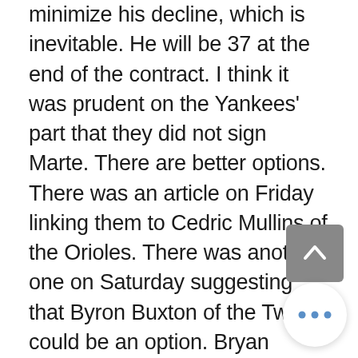minimize his decline, which is inevitable. He will be 37 at the end of the contract. I think it was prudent on the Yankees' part that they did not sign Marte. There are better options. There was an article on Friday linking them to Cedric Mullins of the Orioles. There was another one on Saturday suggesting that Byron Buxton of the Twins could be an option. Bryan Reynolds Of the Pirates is also a rumored target of the Yankees. All three of them are younger than 30. I would not be surprised if the Yankees acquire one of them, which one, I can't tell you. I favor Mullins but, any of the three would be a marked upgrade over Aaron Hicks. Starling Marte is a fine player but, he is not the best fit for Yankees at this stage of his career and